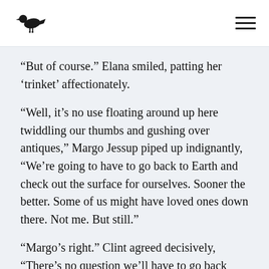[crow logo] [hamburger menu]
“But of course.” Elana smiled, patting her ‘trinket’ affectionately.
“Well, it’s no use floating around up here twiddling our thumbs and gushing over antiques,” Margo Jessup piped up indignantly, “We’re going to have to go back to Earth and check out the surface for ourselves. Sooner the better. Some of us might have loved ones down there. Not me. But still.”
“Margo’s right.” Clint agreed decisively, “There’s no question we’ll have to go back eventually, for food and water if nothing else, and there’s no point beating around the bush. Might as well head down as soon as Star Ride’s done refueling. I’m determined to find out exactly what